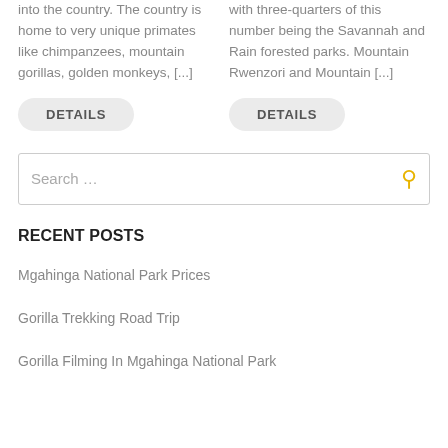into the country. The country is home to very unique primates like chimpanzees, mountain gorillas, golden monkeys, [...]
with three-quarters of this number being the Savannah and Rain forested parks. Mountain Rwenzori and Mountain [...]
DETAILS
DETAILS
Search ...
RECENT POSTS
Mgahinga National Park Prices
Gorilla Trekking Road Trip
Gorilla Filming In Mgahinga National Park